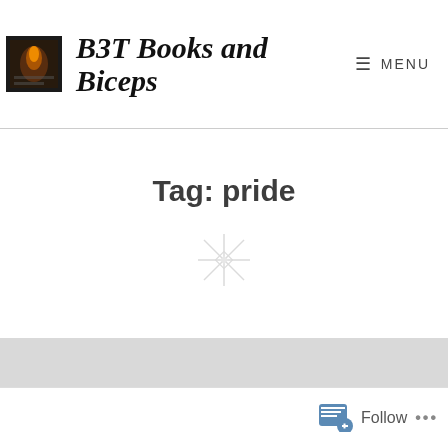[Figure (logo): B3T Books and Biceps blog logo — dark book/flame thumbnail image]
B3T Books and Biceps
MENU
Tag: pride
[Figure (illustration): Faint sparkle/asterisk decorative icon]
Follow ...